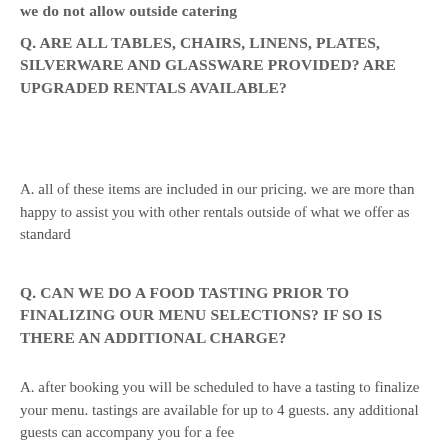we do not allow outside catering
Q. ARE ALL TABLES, CHAIRS, LINENS, PLATES, SILVERWARE AND GLASSWARE PROVIDED? ARE UPGRADED RENTALS AVAILABLE?
A. all of these items are included in our pricing. we are more than happy to assist you with other rentals outside of what we offer as standard
Q. CAN WE DO A FOOD TASTING PRIOR TO FINALIZING OUR MENU SELECTIONS? IF SO IS THERE AN ADDITIONAL CHARGE?
A. after booking you will be scheduled to have a tasting to finalize your menu. tastings are available for up to 4 guests. any additional guests can accompany you for a fee